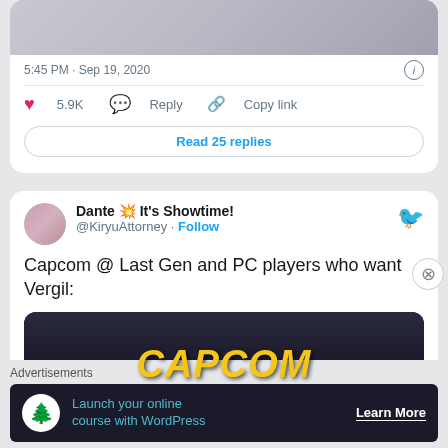[Figure (screenshot): Top portion of a tweet showing a partial image of a person near a washing machine with text 'Dante from the Devil May Cry Series' overlay]
5:45 PM · Sep 19, 2020
♥ 5.9K   Reply   Copy link
Read 25 replies
Dante 💥 It's Showtime! @KiryuAttorney · Follow
Capcom @ Last Gen and PC players who want Vergil:
[Figure (screenshot): Dark image with bold yellow italic CAPCOM text on dark background with a person wearing armor visible below]
Advertisements
[Figure (screenshot): Advertisement banner: Launch your online course with WordPress - Learn More]